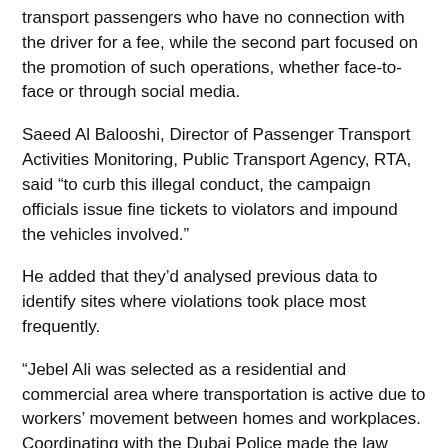transport passengers who have no connection with the driver for a fee, while the second part focused on the promotion of such operations, whether face-to-face or through social media.
Saeed Al Balooshi, Director of Passenger Transport Activities Monitoring, Public Transport Agency, RTA, said "to curb this illegal conduct, the campaign officials issue fine tickets to violators and impound the vehicles involved."
He added that they'd analysed previous data to identify sites where violations took place most frequently.
“Jebel Ali was selected as a residential and commercial area where transportation is active due to workers' movement between homes and workplaces. Coordinating with the Dubai Police made the law enforcement easier and strengthened the governance over the outlawed passenger transport services,” concluded Al Balooshi.